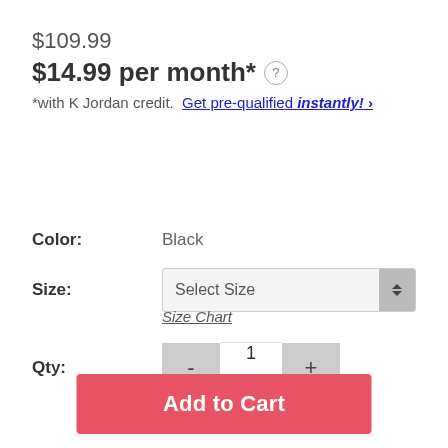$109.99
$14.99 per month*
*with K Jordan credit. Get pre-qualified instantly! ›
Color: Black
Size: Select Size
Size Chart
Qty: 1
Add to Cart